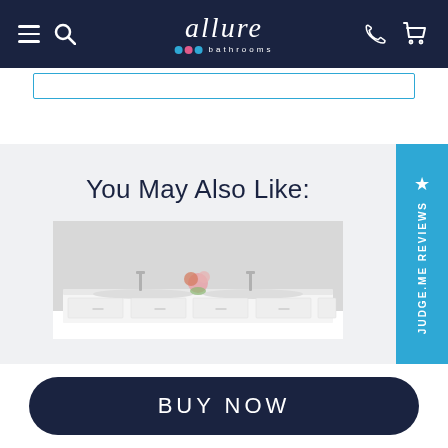allure bathrooms navigation bar with hamburger menu, search, logo, phone, and cart icons
[Figure (screenshot): Search input box with teal border]
You May Also Like:
[Figure (photo): Bathroom double vanity unit in white with two chrome taps and a floral decoration in the center, against a grey background]
[Figure (other): Judge.me Reviews sidebar badge in teal with white star and vertical text]
BUY NOW